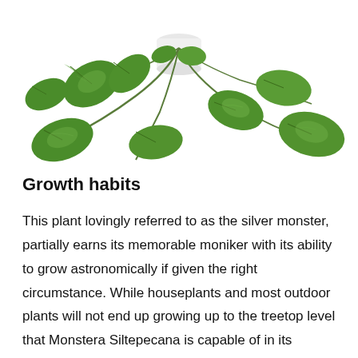[Figure (illustration): A potted houseplant (Monstera Siltepecana) with green trailing vines and heart-shaped leaves with silver-green patterning, shown from above with leaves cascading to the right and downward against a white background.]
Growth habits
This plant lovingly referred to as the silver monster, partially earns its memorable moniker with its ability to grow astronomically if given the right circumstance. While houseplants and most outdoor plants will not end up growing up to the treetop level that Monstera Siltepecana is capable of in its natural jungle habitat, this plant can grow remarkably with a